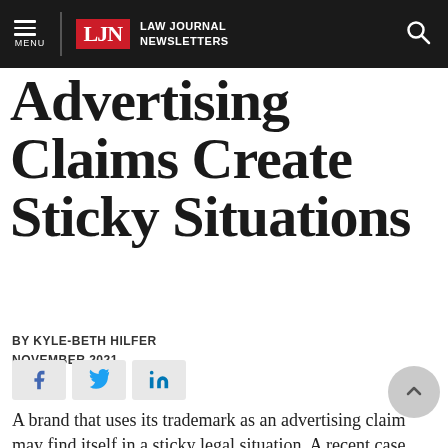LJN LAW JOURNAL NEWSLETTERS
Advertising Claims Create Sticky Situations
BY KYLE-BETH HILFER
NOVEMBER 2021
[Figure (infographic): Social share buttons: Facebook (f), Twitter (bird icon), LinkedIn (in)]
A brand that uses its trademark as an advertising claim may find itself in a sticky legal situation. A recent case before the National Advertising Division of the Better